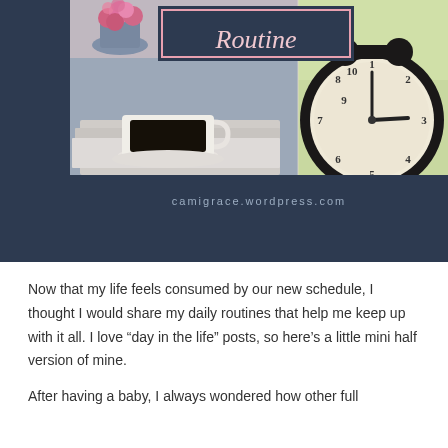[Figure (photo): Blog header image collage: top-left shows pink flowers, top-right and right side shows an alarm clock, bottom-left shows a coffee cup on a saucer placed on magazines. Overlaid dark navy title block with pink border reading 'Routine' in italic script. Dark navy footer bar with text 'camigrace.wordpress.com'.]
Now that my life feels consumed by our new schedule, I thought I would share my daily routines that help me keep up with it all. I love “day in the life” posts, so here’s a little mini half version of mine.
After having a baby, I always wondered how other full